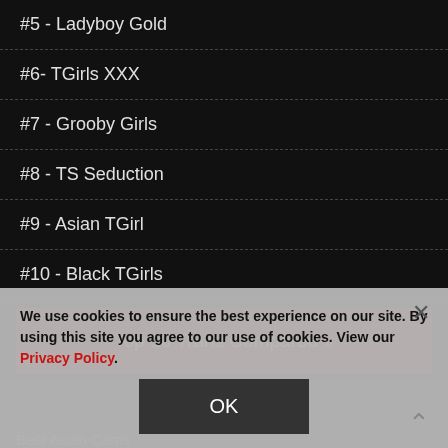#5 - Ladyboy Gold
#6- TGirls XXX
#7 - Grooby Girls
#8 - TS Seduction
#9 - Asian TGirl
#10 - Black TGirls
Top 10 Trans Compared »
Friends of Dark Angel
Best Asian Cams
Best Japanese Porn
Best Trans Porn
We use cookies to ensure the best experience on our site. By using this site you agree to our use of cookies. View our Privacy Policy.
OK